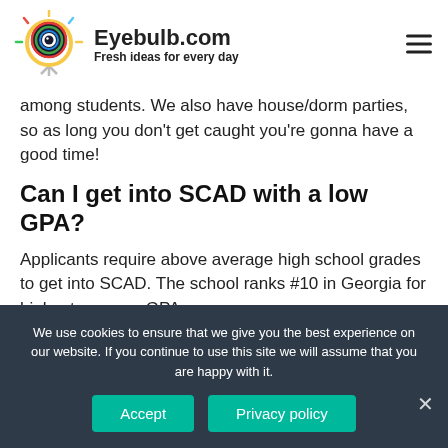Eyebulb.com — Fresh ideas for every day
among students. We also have house/dorm parties, so as long you don't get caught you're gonna have a good time!
Can I get into SCAD with a low GPA?
Applicants require above average high school grades to get into SCAD. The school ranks #10 in Georgia for highest average GPA.
We use cookies to ensure that we give you the best experience on our website. If you continue to use this site we will assume that you are happy with it.